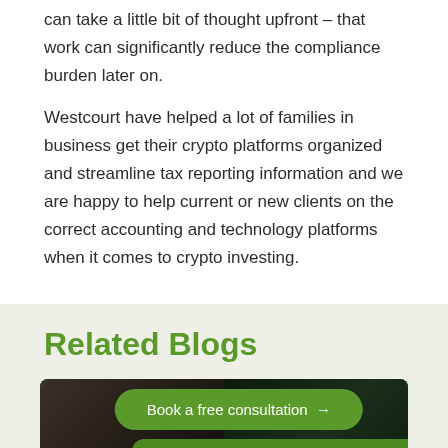can take a little bit of thought upfront – that work can significantly reduce the compliance burden later on.
Westcourt have helped a lot of families in business get their crypto platforms organized and streamline tax reporting information and we are happy to help current or new clients on the correct accounting and technology platforms when it comes to crypto investing.
Related Blogs
[Figure (photo): Blog card with a photo of people in a dark setting, overlaid with a green 'Book a free consultation →' button and a 'Chat now' button with chat icon in the bottom right.]